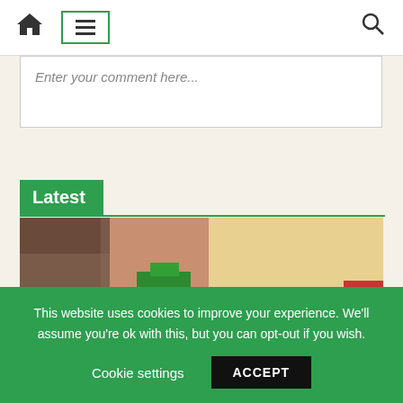Navigation bar with home icon, menu icon (hamburger), and search icon
Enter your comment here...
Latest
[Figure (photo): Child's hand playing with colorful building blocks/Lego pieces, with the word 'Basics' overlaid in bold black text on a yellow background area]
This website uses cookies to improve your experience. We'll assume you're ok with this, but you can opt-out if you wish. Cookie settings ACCEPT